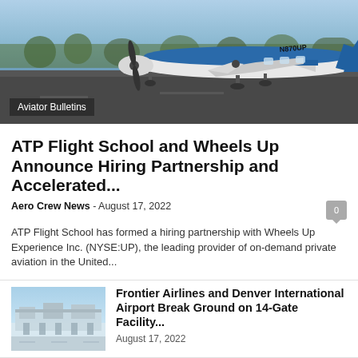[Figure (photo): A blue and white twin-engine propeller aircraft parked on a tarmac with registration N870UP, with green trees in the background on a cloudy day.]
Aviator Bulletins
ATP Flight School and Wheels Up Announce Hiring Partnership and Accelerated...
Aero Crew News  -  August 17, 2022
ATP Flight School has formed a hiring partnership with Wheels Up Experience Inc. (NYSE:UP), the leading provider of on-demand private aviation in the United...
Frontier Airlines and Denver International Airport Break Ground on 14-Gate Facility...
August 17, 2022
[Figure (photo): Aerial view of Frontier Airlines terminal or airport facility.]
Frontier Airlines Begins Nonstop Service from Las Vegas to Baltimore, Buffalo,...
[Figure (photo): Frontier Airlines aircraft on tarmac or in flight.]